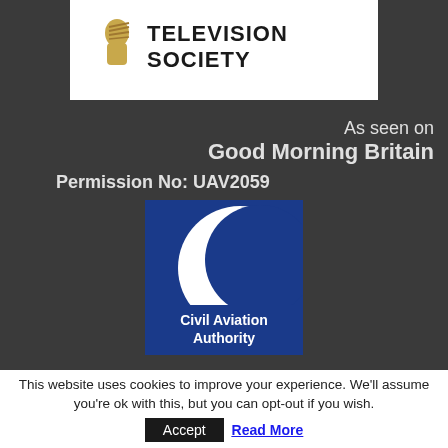[Figure (logo): Royal Television Society logo with golden figure icon and text 'TELEVISION SOCIETY']
As seen on
Good Morning Britain
Permission No: UAV2059
[Figure (logo): Civil Aviation Authority logo: blue square with white crescent moon shape and text 'Civil Aviation Authority']
This website uses cookies to improve your experience. We'll assume you're ok with this, but you can opt-out if you wish.
Accept
Read More